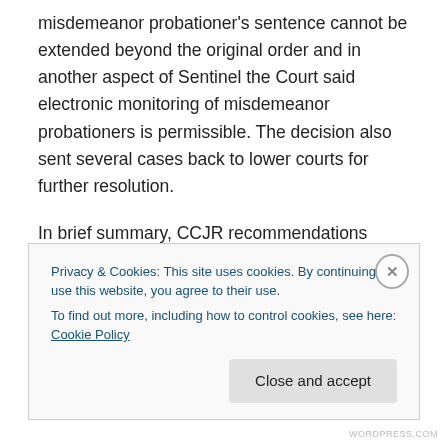misdemeanor probationer's sentence cannot be extended beyond the original order and in another aspect of Sentinel the Court said electronic monitoring of misdemeanor probationers is permissible. The decision also sent several cases back to lower courts for further resolution.
In brief summary, CCJR recommendations approved last week would require that reports filed by private probation services would become public records. Probationers would have improved access to their files including the financial records for fines they paid. Arrest warrants could
Privacy & Cookies: This site uses cookies. By continuing to use this website, you agree to their use.
To find out more, including how to control cookies, see here: Cookie Policy